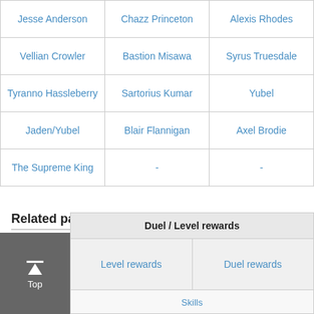| Jesse Anderson | Chazz Princeton | Alexis Rhodes |
| Vellian Crowler | Bastion Misawa | Syrus Truesdale |
| Tyranno Hassleberry | Sartorius Kumar | Yubel |
| Jaden/Yubel | Blair Flannigan | Axel Brodie |
| The Supreme King | - | - |
Related pages
| Duel / Level rewards |
| --- |
| Level rewards | Duel rewards |
| Skills |  |